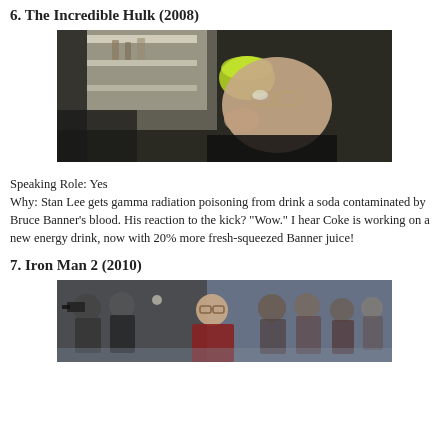6. The Incredible Hulk (2008)
[Figure (photo): Close-up of an elderly man with glasses drinking from a green cup/container, indoors near shelving.]
Speaking Role: Yes
Why: Stan Lee gets gamma radiation poisoning from drink a soda contaminated by Bruce Banner's blood. His reaction to the kick? "Wow." I hear Coke is working on a new energy drink, now with 20% more fresh-squeezed Banner juice!
7. Iron Man 2 (2010)
[Figure (photo): Elderly man with glasses and white hair in a crowd scene with cameras and people, indoors in a modern building.]